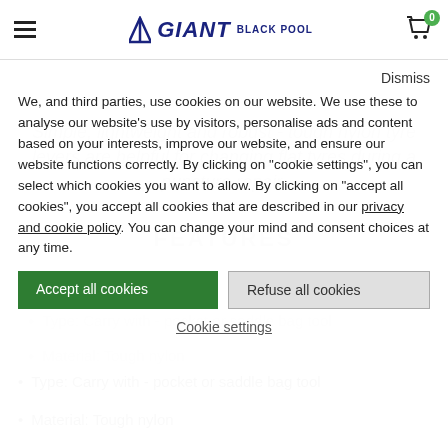Giant Blackpool — header with hamburger menu, logo, cart
Dismiss

We, and third parties, use cookies on our website. We use these to analyse our website's use by visitors, personalise ads and content based on your interests, improve our website, and ensure our website functions correctly. By clicking on "cookie settings", you can select which cookies you want to allow. By clicking on "accept all cookies", you accept all cookies that are described in our privacy and cookie policy. You can change your mind and consent choices at any time.
Accept all cookies
Refuse all cookies
Cookie settings
Simple, lightweight and robust - tough nylon tyre levers are helpful for changing flat tyres during a puncture repair.
FEATURES
Type: Carry with - pocket or saddle bag tool
Material: Tough nylon